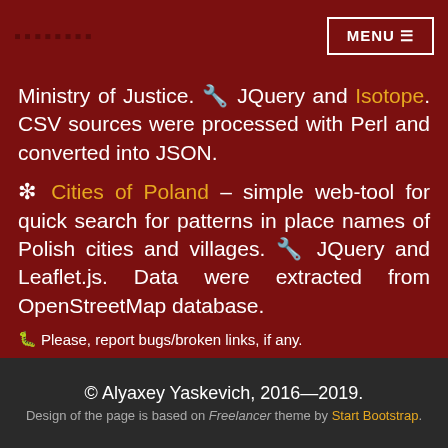▪▪▪▪▪▪▪▪  MENU ≡
Ministry of Justice. 🔧 JQuery and Isotope. CSV sources were processed with Perl and converted into JSON.
❋ Cities of Poland – simple web-tool for quick search for patterns in place names of Polish cities and villages. 🔧 JQuery and Leaflet.js. Data were extracted from OpenStreetMap database.
🐛 Please, report bugs/broken links, if any.
© Alyaxey Yaskevich, 2016—2019. Design of the page is based on Freelancer theme by Start Bootstrap.